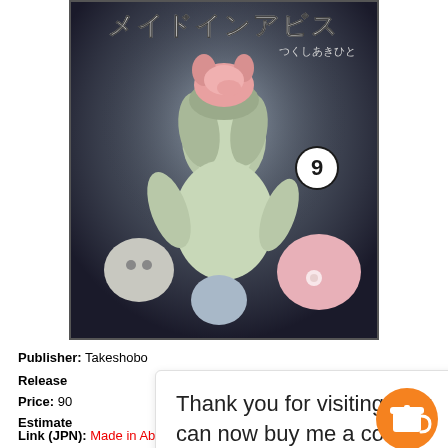[Figure (illustration): Manga book cover for Made in Abyss Vol. 9 (メイドインアビス) by つくしあきひと. Shows an anime girl with grey hair holding creature companions, with the number 9 in a circle. Dark atmospheric background.]
Publisher: Takeshobo
Release
Price: 90
Estimate
Thank you for visiting. You can now buy me a coffee!
Link (JPN): Made in Abyss Vol. 9